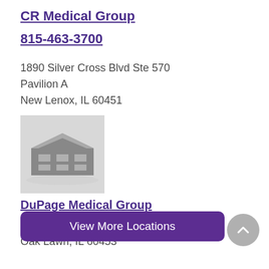CR Medical Group
815-463-3700
1890 Silver Cross Blvd Ste 570
Pavilion A
New Lenox, IL 60451
[Figure (photo): Grayscale placeholder image of a building exterior]
DuPage Medical Group
9618 Southwest Highway
Oak Lawn, IL 60453
View More Locations